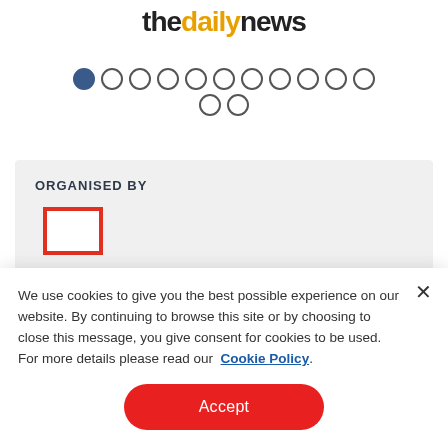[Figure (logo): thedailynews logo with 'the' and 'news' in black bold, 'daily' in orange/gold bold]
[Figure (other): Pagination dots: 13 circles arranged in two rows, first dot filled/active (dark blue), rest empty with grey border]
ORGANISED BY
[Figure (logo): Red outlined square/rectangle logo placeholder for organiser]
We use cookies to give you the best possible experience on our website. By continuing to browse this site or by choosing to close this message, you give consent for cookies to be used. For more details please read our  Cookie Policy.
[Figure (other): Accept button — red pill-shaped button with white text 'Accept']